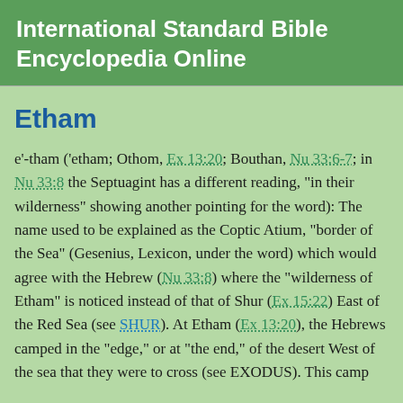International Standard Bible Encyclopedia Online
Etham
e'-tham ('etham; Othom, Ex 13:20; Bouthan, Nu 33:6-7; in Nu 33:8 the Septuagint has a different reading, "in their wilderness" showing another pointing for the word): The name used to be explained as the Coptic Atium, "border of the Sea" (Gesenius, Lexicon, under the word) which would agree with the Hebrew (Nu 33:8) where the "wilderness of Etham" is noticed instead of that of Shur (Ex 15:22) East of the Red Sea (see SHUR). At Etham (Ex 13:20), the Hebrews camped in the "edge," or at "the end," of the desert West of the sea that they were to cross (see EXODUS). This camp